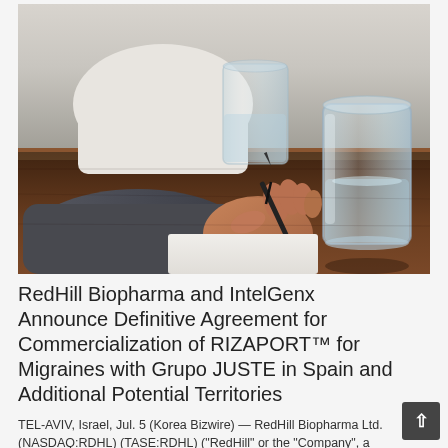[Figure (photo): A person signing a document at a wooden desk with a glass of water visible in the foreground and another person's hand partially visible in the background]
RedHill Biopharma and IntelGenx Announce Definitive Agreement for Commercialization of RIZAPORT™ for Migraines with Grupo JUSTE in Spain and Additional Potential Territories
TEL-AVIV, Israel, Jul. 5 (Korea Bizwire) — RedHill Biopharma Ltd. (NASDAQ:RDHL) (TASE:RDHL) ("RedHill" or the "Company", a